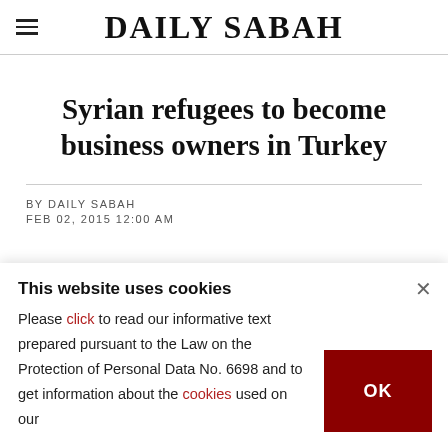DAILY SABAH
Syrian refugees to become business owners in Turkey
BY DAILY SABAH
FEB 02, 2015 12:00 AM
This website uses cookies
Please click to read our informative text prepared pursuant to the Law on the Protection of Personal Data No. 6698 and to get information about the cookies used on our